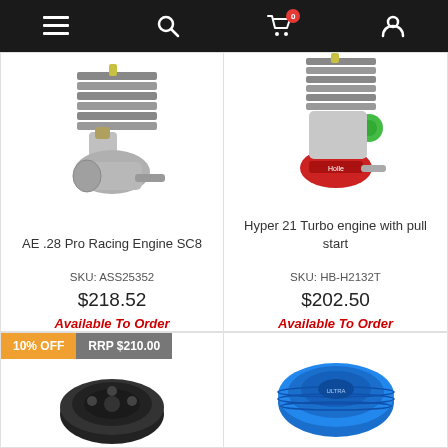Navigation bar with menu, search, cart (0 items), account icons
[Figure (photo): AE .28 Pro Racing Engine SC8 - nitro RC engine photo]
AE .28 Pro Racing Engine SC8
SKU: ASS25352
$218.52
Available To Order
[Figure (photo): Hyper 21 Turbo engine with pull start - nitro RC engine photo]
Hyper 21 Turbo engine with pull start
SKU: HB-H2132T
$202.50
Available To Order
10% OFF
RRP $210.00
[Figure (photo): RC engine part - black clutch/flywheel component, bottom partial view]
[Figure (photo): RC engine part - blue anodized component, bottom partial view]